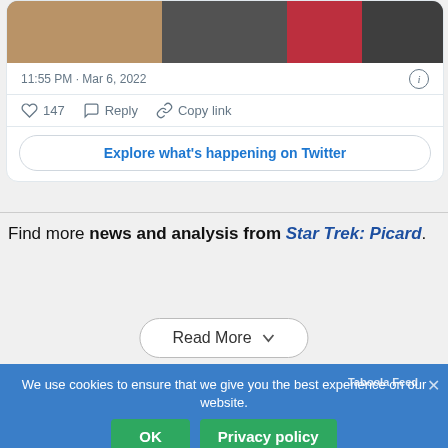[Figure (screenshot): Partial cropped photo of people at an event, visible at top of tweet card]
11:55 PM · Mar 6, 2022
147  Reply  Copy link
Explore what's happening on Twitter
Find more news and analysis from Star Trek: Picard.
Read More
We use cookies to ensure that we give you the best experience on our website.
OK  Privacy policy
[Figure (photo): Taboola feed thumbnail strip showing people photos at the bottom of the page]